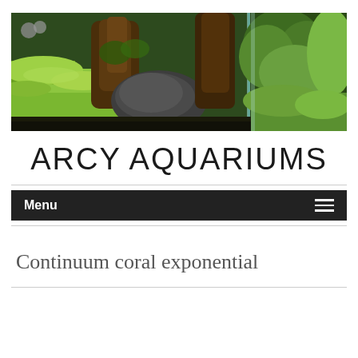[Figure (photo): Aquarium aquascape photo showing lush green plants, driftwood/tree roots, rocks, and aquatic moss carpet under bright light]
ARCY AQUARIUMS
Menu
Continuum coral exponential